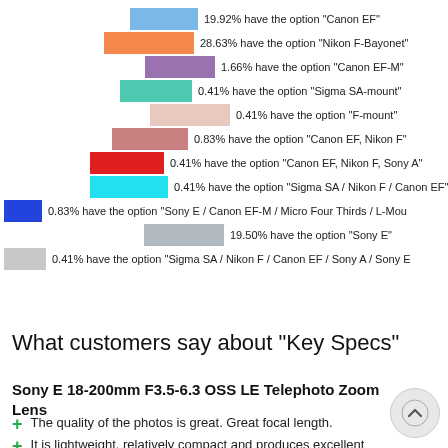[Figure (other): Legend with colored swatches showing percentage breakdowns by lens mount option]
What customers say about "Key Specs"
Sony E 18-200mm F3.5-6.3 OSS LE Telephoto Zoom Lens
The quality of the photos is great. Great focal length.
It is lightweight, relatively compact and produces excellent